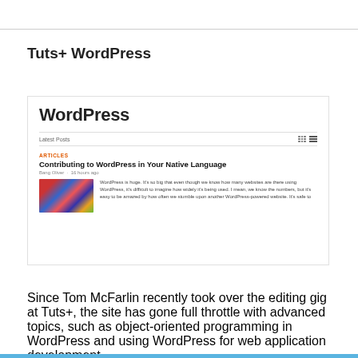Tuts+ WordPress
[Figure (screenshot): Screenshot of the Tuts+ WordPress website showing the WordPress section header, Latest Posts bar with grid/list icons, an ARTICLES category label, the article title 'Contributing to WordPress in Your Native Language', author 'Bang Oliver' and time '16 hours ago', a thumbnail image of international flags, and an excerpt of the article text.]
Since Tom McFarlin recently took over the editing gig at Tuts+, the site has gone full throttle with advanced topics, such as object-oriented programming in WordPress and using WordPress for web application development.